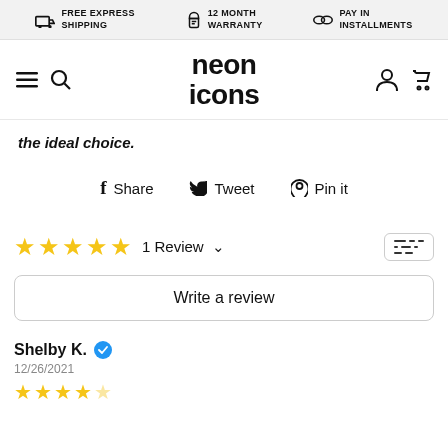FREE EXPRESS SHIPPING | 12 MONTH WARRANTY | PAY IN INSTALLMENTS
[Figure (logo): Neon Icons logo with hamburger menu and search icon on left, user and cart icons on right]
the ideal choice.
Share  Tweet  Pin it
★★★★★ 1 Review
Write a review
Shelby K. ✓ 12/26/2021